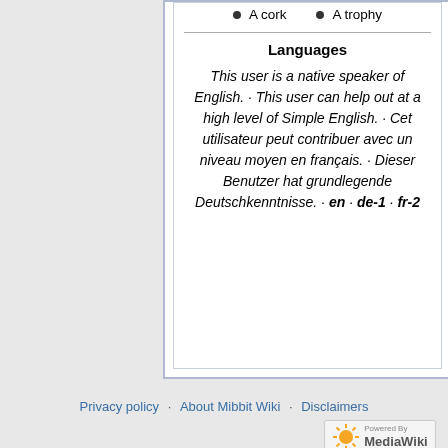A cork
A trophy
Languages
This user is a native speaker of English. · This user can help out at a high level of Simple English. · Cet utilisateur peut contribuer avec un niveau moyen en français. · Dieser Benutzer hat grundlegende Deutschkenntnisse. · en · de-1 · fr-2
Privacy policy · About Mibbit Wiki · Disclaimers